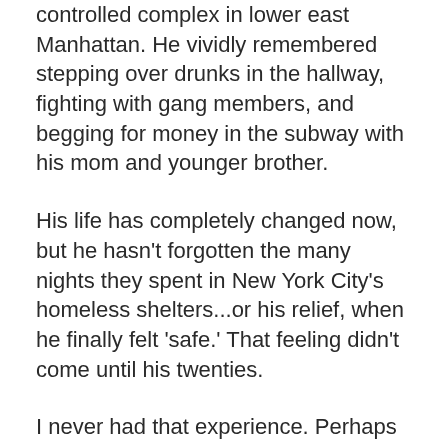controlled complex in lower east Manhattan. He vividly remembered stepping over drunks in the hallway, fighting with gang members, and begging for money in the subway with his mom and younger brother.
His life has completely changed now, but he hasn't forgotten the many nights they spent in New York City's homeless shelters...or his relief, when he finally felt 'safe.' That feeling didn't come until his twenties.
I never had that experience. Perhaps what seemed poor was really rich, after all.
This post is by staff writer Cindy Brick. Cindy is a quilting expert with several published books on the subject and has also had many